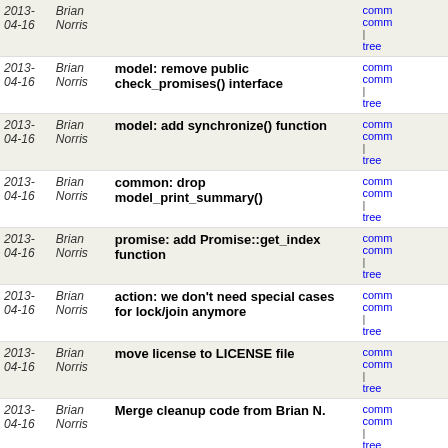| Date | Author | Message | Links |
| --- | --- | --- | --- |
| 2013-
04-16 | Brian
Norris |  | comm
comm
| tree |
| 2013-
04-16 | Brian
Norris | model: remove public check_promises() interface | comm
comm
| tree |
| 2013-
04-16 | Brian
Norris | model: add synchronize() function | comm
comm
| tree |
| 2013-
04-16 | Brian
Norris | common: drop model_print_summary() | comm
comm
| tree |
| 2013-
04-16 | Brian
Norris | promise: add Promise::get_index function | comm
comm
| tree |
| 2013-
04-16 | Brian
Norris | action: we don't need special cases for lock/join anymore | comm
comm
| tree |
| 2013-
04-16 | Brian
Norris | move license to LICENSE file | comm
comm
| tree |
| 2013-
04-16 | Brian
Norris | Merge cleanup code from Brian N. | comm
comm
| tree |
| 2013-
04-16 | Brian
Norris | traceanalysis: rename to remove '_' | comm
comm
| tree |
| 2013-
04-16 | Brian
Norris | bugmessage: move struct to header file | comm
comm
| tree |
| 2013-
04-15 | Brian
Norris | params: move model_params to header file | comm
comm
| tree |
| 2013-
04-15 | Brian
Norris | model: add too_many_steps() | comm
comm
| tree |
| 2013-
04-15 | Brian
Norris | model: fixup whitespace | comm
comm
| tree |
| 2013-
04-15 | Brian
Norris | scanalysis: fix warning | comm
comm |